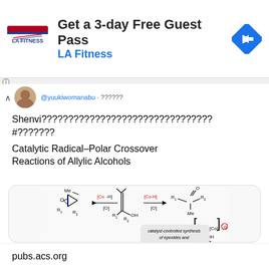[Figure (screenshot): LA Fitness advertisement banner: logo on left, 'Get a 3-day Free Guest Pass' heading, 'LA Fitness' subheading in blue, navigation icon on right]
@yuukiwomanabu · ??????
Shenvi???????????????????????????????? #??????? Catalytic Radical–Polar Crossover Reactions of Allylic Alcohols
[Figure (engineering-diagram): Chemical reaction scheme showing catalytic radical-polar crossover reactions. Shows an allylic alcohol in the center reacting with [Co-H]/[O] in two directions: left producing an epoxide (Me, R1, R2 substituted), right producing a carbonyl compound (R1, R2, Me substituted). Bottom shows intermediate via [Co] radical anion with Me, OH, R1, R2 groups, and text 'catalyst-controlled synthesis of epoxides and semipinacol products']
pubs.acs.org